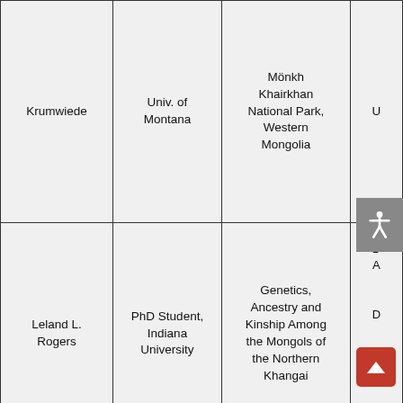| Name | Affiliation | Project/Topic |  |
| --- | --- | --- | --- |
| Krumwiede | Univ. of Montana | Mönkh Khairkhan National Park, Western Mongolia | U |
| Leland L. Rogers | PhD Student, Indiana University | Genetics, Ancestry and Kinship Among the Mongols of the Northern Khangai | D
A

D |